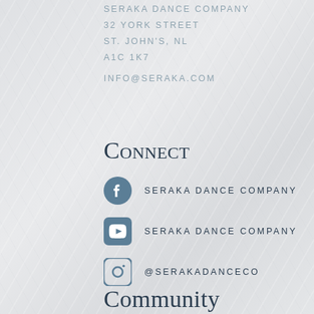SERAKA DANCE COMPANY
32 YORK STREET
ST. JOHN'S, NL
A1C 1K7

INFO@SERAKA.COM
Connect
SERAKA DANCE COMPANY (Facebook)
SERAKA DANCE COMPANY (YouTube)
@SERAKADANCECO (Instagram)
Community